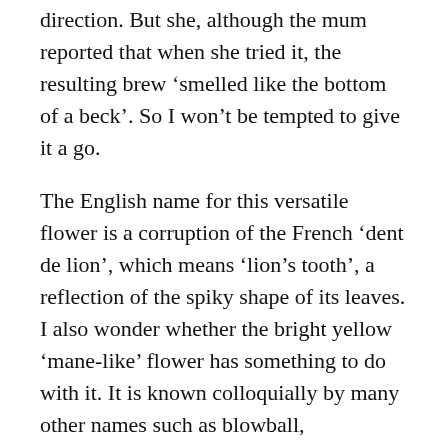direction. But she, although the mum reported that when she tried it, the resulting brew ‘smelled like the bottom of a beck’. So I won’t be tempted to give it a go.
The English name for this versatile flower is a corruption of the French ‘dent de lion’, which means ‘lion’s tooth’, a reflection of the spiky shape of its leaves. I also wonder whether the bright yellow ‘mane-like’ flower has something to do with it. It is known colloquially by many other names such as blowball, cankerwort, milk witch and monk’s head to name but a few.
Another well-known alternative name refers to the fact that it has an undesirable side-effect if